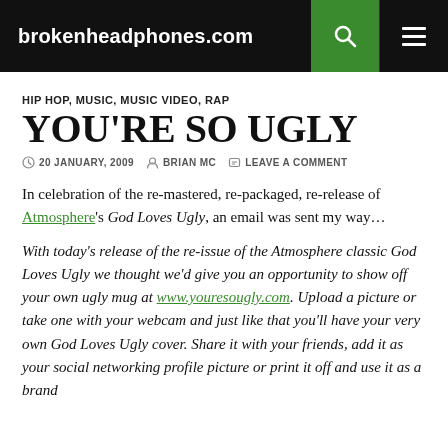brokenheadphones.com
HIP HOP, MUSIC, MUSIC VIDEO, RAP
YOU'RE SO UGLY
20 JANUARY, 2009  BRIAN MC  LEAVE A COMMENT
In celebration of the re-mastered, re-packaged, re-release of Atmosphere's God Loves Ugly, an email was sent my way…
With today's release of the re-issue of the Atmosphere classic God Loves Ugly we thought we'd give you an opportunity to show off your own ugly mug at www.youresougly.com. Upload a picture or take one with your webcam and just like that you'll have your very own God Loves Ugly cover. Share it with your friends, add it as your social networking profile picture or print it off and use it as a brand